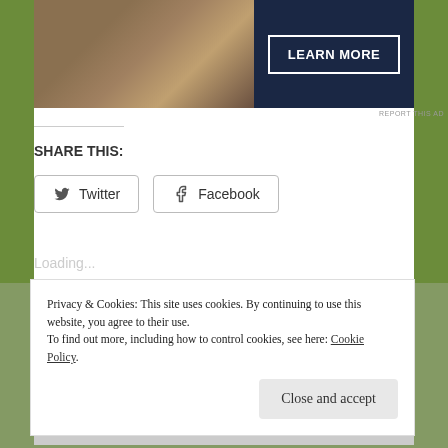[Figure (photo): Advertisement banner with a photo of a person playing a flute on the left and a dark navy blue panel with a 'LEARN MORE' button on the right]
REPORT THIS AD
SHARE THIS:
Twitter
Facebook
Loading...
Privacy & Cookies: This site uses cookies. By continuing to use this website, you agree to their use.
To find out more, including how to control cookies, see here: Cookie Policy
Close and accept